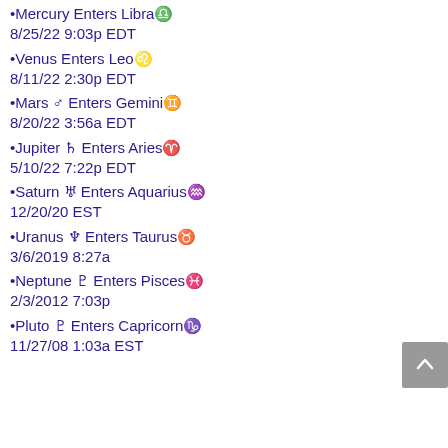•Mercury Enters Libra♎
8/25/22 9:03p EDT
•Venus Enters Leo♌
8/11/22 2:30p EDT
•Mars ♂ Enters Gemini♊
8/20/22 3:56a EDT
•Jupiter ♃ Enters Aries♈
5/10/22 7:22p EDT
•Saturn ♄ Enters Aquarius♒
12/20/20 EST
•Uranus ♅ Enters Taurus♉
3/6/2019 8:27a
•Neptune ♆ Enters Pisces♓
2/3/2012 7:03p
•Pluto ♇ Enters Capricorn♑
11/27/08 1:03a EST